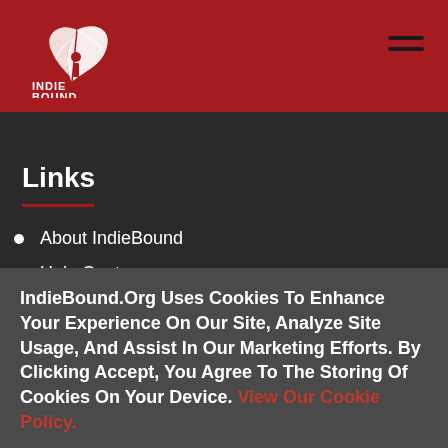[Figure (logo): IndieBound logo — stylized hand with book pages forming a bird shape, text INDIE BOUND below, white on red background]
Links
About IndieBound
Help Center
IndieBound.Org Uses Cookies To Enhance Your Experience On Our Site, Analyze Site Usage, And Assist In Our Marketing Efforts. By Clicking Accept, You Agree To The Storing Of Cookies On Your Device. View Our Cookie Policy.
Give me more info
Accept all Cookies